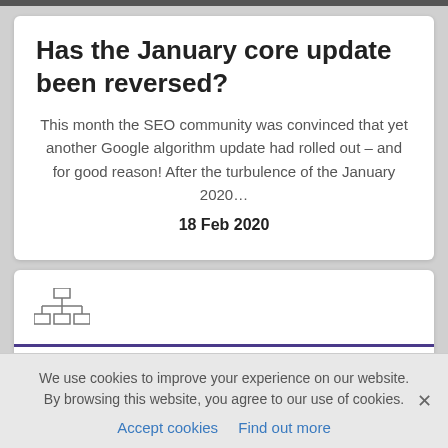Has the January core update been reversed?
This month the SEO community was convinced that yet another Google algorithm update had rolled out – and for good reason! After the turbulence of the January 2020…
18 Feb 2020
[Figure (other): Network/sitemap icon showing a small organizational chart with boxes connected by lines]
GOOGLE ALGORITHMS
We use cookies to improve your experience on our website. By browsing this website, you agree to our use of cookies.